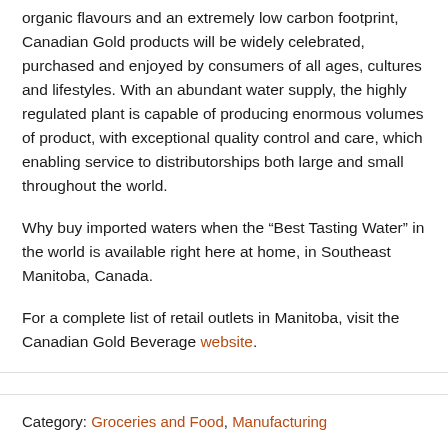organic flavours and an extremely low carbon footprint, Canadian Gold products will be widely celebrated, purchased and enjoyed by consumers of all ages, cultures and lifestyles. With an abundant water supply, the highly regulated plant is capable of producing enormous volumes of product, with exceptional quality control and care, which enabling service to distributorships both large and small throughout the world.
Why buy imported waters when the “Best Tasting Water” in the world is available right here at home, in Southeast Manitoba, Canada.
For a complete list of retail outlets in Manitoba, visit the Canadian Gold Beverage website.
Category: Groceries and Food, Manufacturing